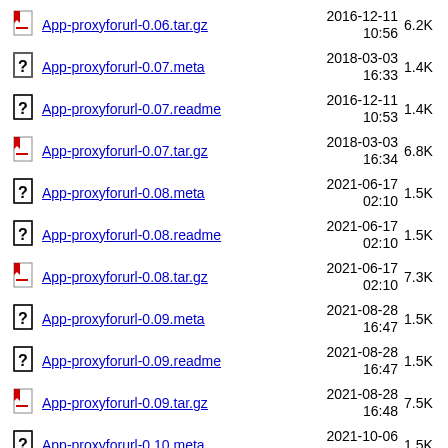App-proxyforurl-0.06.tar.gz  2016-12-11 10:56  6.2K
App-proxyforurl-0.07.meta  2018-03-03 16:33  1.4K
App-proxyforurl-0.07.readme  2016-12-11 10:53  1.4K
App-proxyforurl-0.07.tar.gz  2018-03-03 16:34  6.8K
App-proxyforurl-0.08.meta  2021-06-17 02:10  1.5K
App-proxyforurl-0.08.readme  2021-06-17 02:10  1.5K
App-proxyforurl-0.08.tar.gz  2021-06-17 02:10  7.3K
App-proxyforurl-0.09.meta  2021-08-28 16:47  1.5K
App-proxyforurl-0.09.readme  2021-08-28 16:47  1.5K
App-proxyforurl-0.09.tar.gz  2021-08-28 16:48  7.5K
App-proxyforurl-0.10.meta  2021-10-06 01:11  1.5K